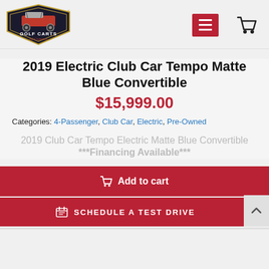[Figure (logo): Golf Carts of Cypress logo — shield shape with a golf cart illustration, text 'GOLF CARTS of Cypress']
2019 Electric Club Car Tempo Matte Blue Convertible
$15,999.00
Categories: 4-Passenger, Club Car, Electric, Pre-Owned
2019 Club Car Tempo Electric Matte Blue Convertible ***Financing Available***
Add to cart
Schedule a Test Drive